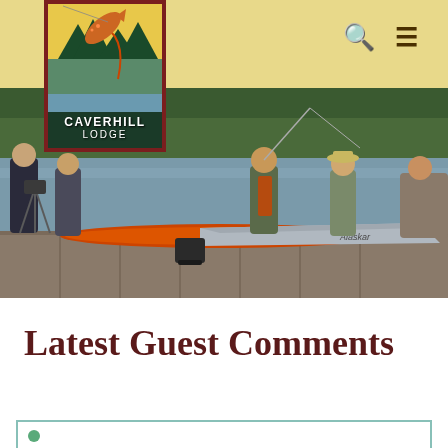Caverhill Lodge — navigation header with search and menu icons
[Figure (photo): Caverhill Lodge logo: a framed sign with a jumping fish illustration over a lake/mountain scene, text reads CAVERHILL LODGE]
[Figure (photo): Hero photo of people on a dock with fishing boats on a lake, including an aluminum boat labeled Alaskan and an orange inflatable raft]
Latest Guest Comments